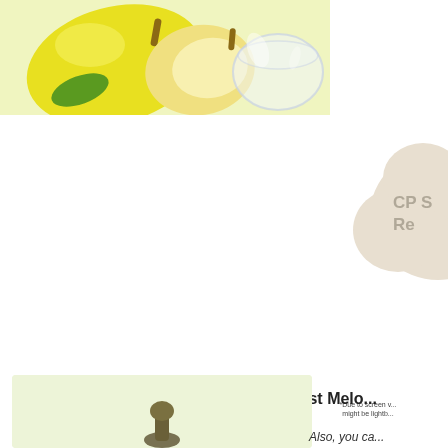[Figure (photo): Yellow pear with a glass bowl on a light yellow-green background]
[Figure (illustration): Decorative cloud/speech bubble shape in beige/cream color with partial text 'CP S... Re...']
*Due to screen v... might be lightb...
Best Melo...
[Figure (photo): Light green background image with small dark object at the bottom center]
Also, you ca...